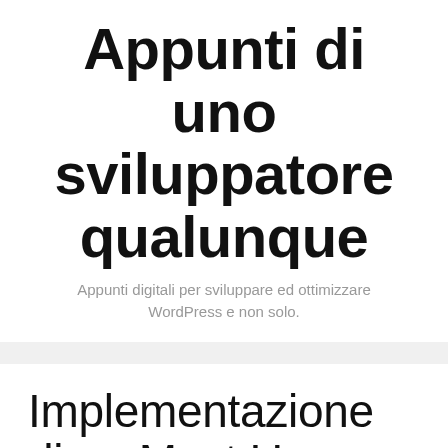Appunti di uno sviluppatore qualunque
Appunti digitali per sviluppare ed ottimizzare WordPress e non solo.
Implementazione di un Must Use Plugin